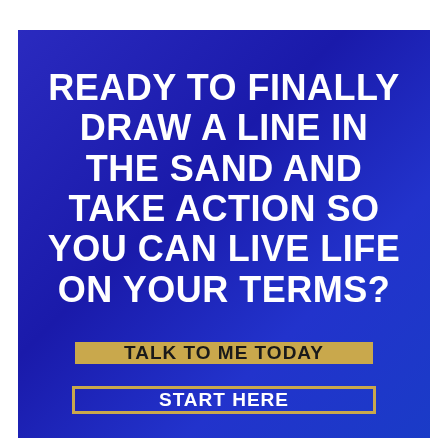READY TO FINALLY DRAW A LINE IN THE SAND AND TAKE ACTION SO YOU CAN LIVE LIFE ON YOUR TERMS?
TALK TO ME TODAY
START HERE